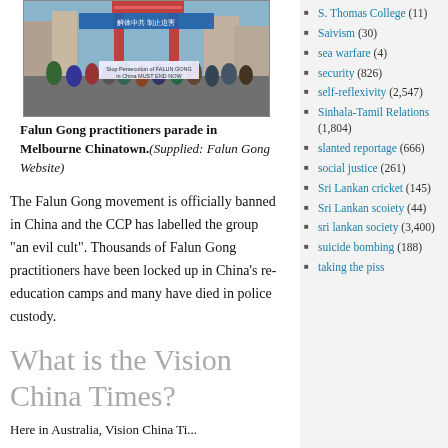[Figure (photo): Falun Gong practitioners marching in a parade through Melbourne Chinatown, carrying banners with Chinese text.]
Falun Gong practitioners parade in Melbourne Chinatown.(Supplied: Falun Gong Website)
The Falun Gong movement is officially banned in China and the CCP has labelled the group “an evil cult”. Thousands of Falun Gong practitioners have been locked up in China’s re-education camps and many have died in police custody.
What is the Vision China Times?
Here in Australia, Vision China Ti...
S. Thomas College (11)
Saivism (30)
sea warfare (4)
security (826)
self-reflexivity (2,547)
Sinhala-Tamil Relations (1,804)
slanted reportage (666)
social justice (261)
Sri Lankan cricket (145)
Sri Lankan scoiety (44)
sri lankan society (3,400)
suicide bombing (188)
taking the piss